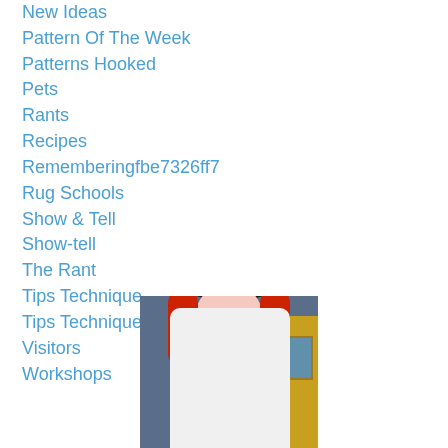New Ideas
Pattern Of The Week
Patterns Hooked
Pets
Rants
Recipes
Rememberingfbe7326ff7
Rug Schools
Show & Tell
Show-tell
The Rant
Tips Technique
Tips Techniquef0cd117ab4
Visitors
Workshops
[Figure (photo): Person in Halloween costume wearing a large black witch hat with bow, red hair, clown-like makeup, white outfit, standing in front of a building with blue-grey siding and yellow trim]